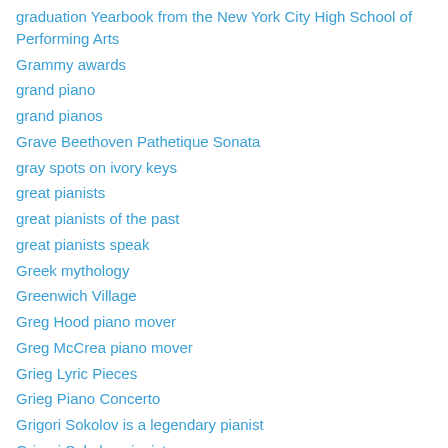graduation Yearbook from the New York City High School of Performing Arts
Grammy awards
grand piano
grand pianos
Grave Beethoven Pathetique Sonata
gray spots on ivory keys
great pianists
great pianists of the past
great pianists speak
Greek mythology
Greenwich Village
Greg Hood piano mover
Greg McCrea piano mover
Grieg Lyric Pieces
Grieg Piano Concerto
Grigori Sokolov is a legendary pianist
Grigori Sokolov pianist
Grigory Sokolov
Group Theater